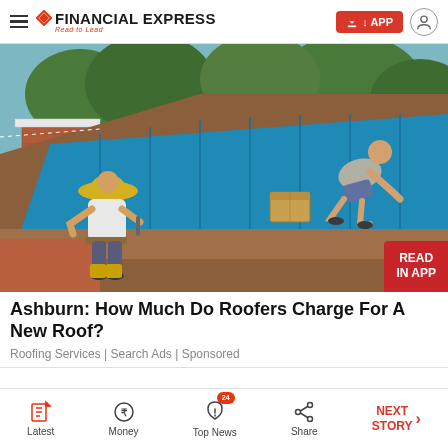FINANCIAL EXPRESS — Read to Lead
[Figure (photo): Two workers installing blue metal roofing panels on a house. One worker in foreground wearing yellow hat and white t-shirt. Second worker bending over on top of the roof. Cardboard boxes on the roof. Trees and brick buildings visible in background.]
Ashburn: How Much Do Roofers Charge For A New Roof?
Roofing Services | Search Ads | Sponsored
Latest | Money | Top News 24 | Share | NEXT STORY →